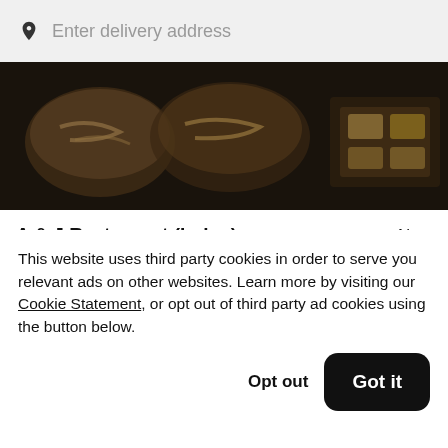Enter delivery address
[Figure (photo): Overhead photo of Asian food dishes including bowls of noodles and plates of food, darkened/dimmed]
A & J Restaurant (Irvine)
New
$
[Figure (photo): Partial view of another food photo, darkened]
This website uses third party cookies in order to serve you relevant ads on other websites. Learn more by visiting our Cookie Statement, or opt out of third party ad cookies using the button below.
Opt out
Got it